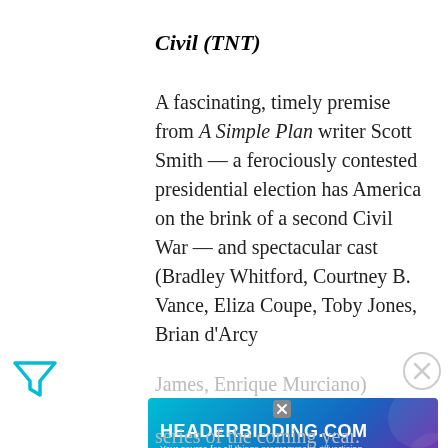Civil (TNT)
A fascinating, timely premise from A Simple Plan writer Scott Smith — a ferociously contested presidential election has America on the brink of a second Civil War — and spectacular cast (Bradley Whitford, Courtney B. Vance, Eliza Coupe, Toby Jones, Brian d'Arcy James, Enrique Murciano) series of the coming year.
[Figure (other): Advertisement banner for HEADERBIDDING.COM with text 'Your source for all things programmatic advertising.' on a teal/blue/purple gradient background.]